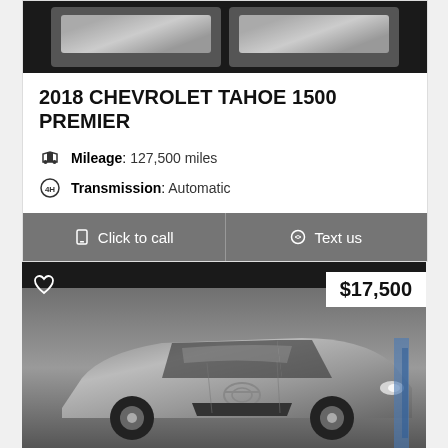[Figure (photo): Dark background showing two vehicle thumbnail images side by side]
2018 CHEVROLET TAHOE 1500 PREMIER
Mileage: 127,500 miles
Transmission: Automatic
Click to call
Text us
[Figure (photo): Toyota Camry sedan in silver/gray color shown from front-side angle with $17,500 price tag overlay]